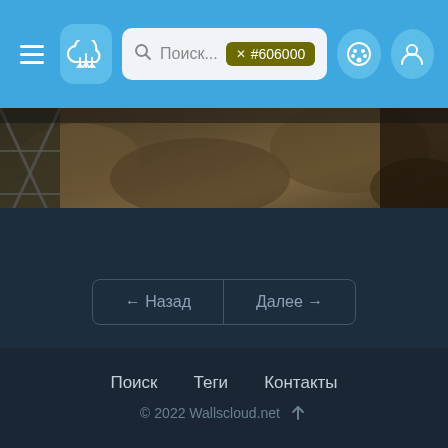[Figure (screenshot): Website navigation header bar with hamburger menu, cloud logo, search bar with text 'Поиск...' and olive-colored tag '#606000', palette icon, and user icon. Background is sky blue.]
[Figure (photo): A partial photo showing rocky terrain with some metal structure on the left, in dark/muted tones.]
[Figure (screenshot): Dark blue-gray background with pagination controls showing '← Назад' and 'Далее →' buttons, and a small dot indicator below.]
Поиск   Теги   Контакты
© 2022 Wallscloud.net ↑